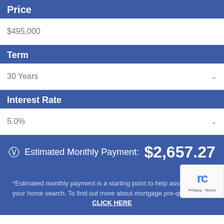Price
$495,000
Term
30 Years
Interest Rate
5.0%
Estimated Monthly Payment: $2,657.27
*Estimated monthly payment is a starting point to help assist you with your home search. To find out more about mortgage pre-qualification, CLICK HERE